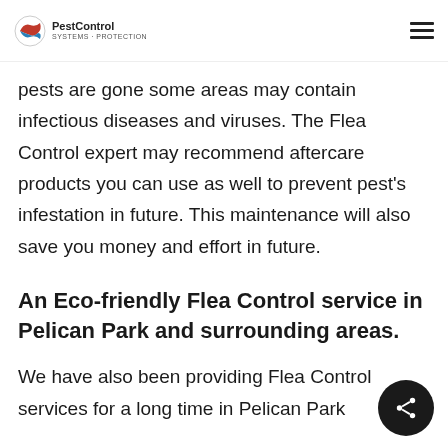PestControl
pests are gone some areas may contain infectious diseases and viruses. The Flea Control expert may recommend aftercare products you can use as well to prevent pest's infestation in future. This maintenance will also save you money and effort in future.
An Eco-friendly Flea Control service in Pelican Park and surrounding areas.
We have also been providing Flea Control services for a long time in Pelican Park